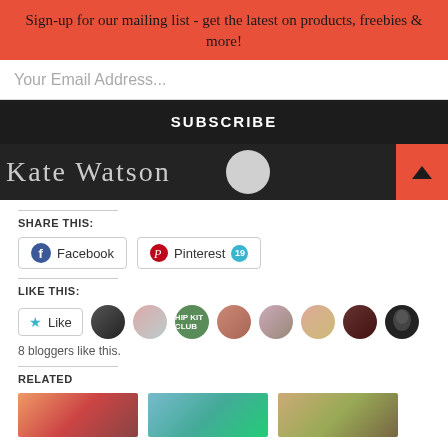Sign-up for our mailing list - get the latest on products, freebies & more!
Your Email Address...
SUBSCRIBE
[Figure (screenshot): Partial image strip showing cursive text, white circle, and red arrow button]
SHARE THIS:
Facebook
Pinterest 19
LIKE THIS:
Like
8 bloggers like this.
RELATED